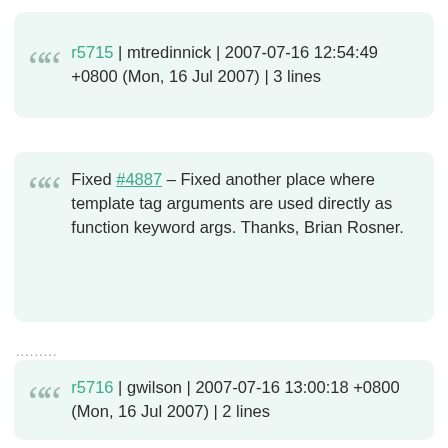r5715 | mtredinnick | 2007-07-16 12:54:49 +0800 (Mon, 16 Jul 2007) | 3 lines
Fixed #4887 – Fixed another place where template tag arguments are used directly as function keyword args. Thanks, Brian Rosner.
........
r5716 | gwilson | 2007-07-16 13:00:18 +0800 (Mon, 16 Jul 2007) | 2 lines